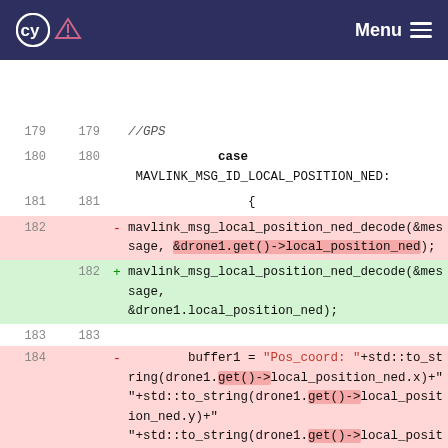Menu
[Figure (screenshot): Code diff view showing lines 179-184 of a C++ source file with mavlink GPS message handling. Lines 182 and 184 show red (deleted) blocks, line 182 green shows added code.]